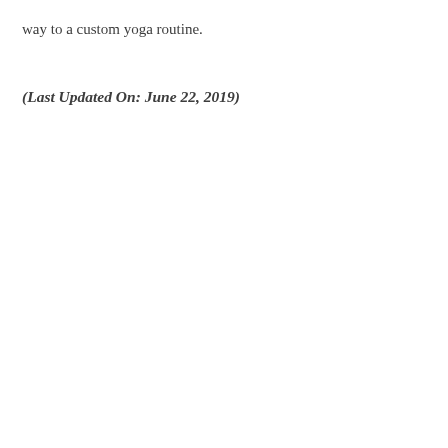way to a custom yoga routine.
(Last Updated On: June 22, 2019)